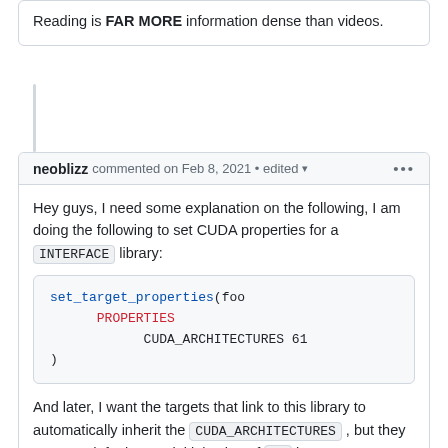Reading is FAR MORE information dense than videos.
neoblizz commented on Feb 8, 2021 • edited
Hey guys, I need some explanation on the following, I am doing the following to set CUDA properties for a INTERFACE library:
set_target_properties(foo
    PROPERTIES
        CUDA_ARCHITECTURES 61
)
And later, I want the targets that link to this library to automatically inherit the CUDA_ARCHITECTURES , but they seem to default to an initial value of 52 in my case. How can I automatically inherit the properties in the core library in my targets later on?